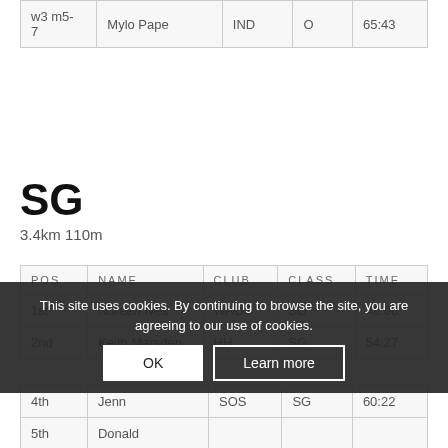|  |  |  |  |  |
| --- | --- | --- | --- | --- |
| w3 m5-7 | Mylo Pape | IND | O | 65:43 |
SG
3.4km 110m
| POS | NAME | CLUB | CLASS | TIME |
| --- | --- | --- | --- | --- |
| 1st | Noreen Ives | WAOC | SG | 48:06 |
| 2nd | Keith Marsden | HH | SG | 54:27 |
| 4th | Jenn... | SOS | SG | 60:22 |
| 5th | Donald... | ... |  |  |
This site uses cookies. By continuing to browse the site, you are agreeing to our use of cookies.